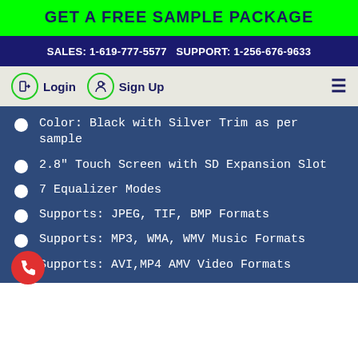GET A FREE SAMPLE PACKAGE
SALES: 1-619-777-5577   SUPPORT: 1-256-676-9633
Login   Sign Up
Color: Black with Silver Trim as per sample
2.8" Touch Screen with SD Expansion Slot
7 Equalizer Modes
Supports: JPEG, TIF, BMP Formats
Supports: MP3, WMA, WMV Music Formats
Supports: AVI,MP4 AMV Video Formats